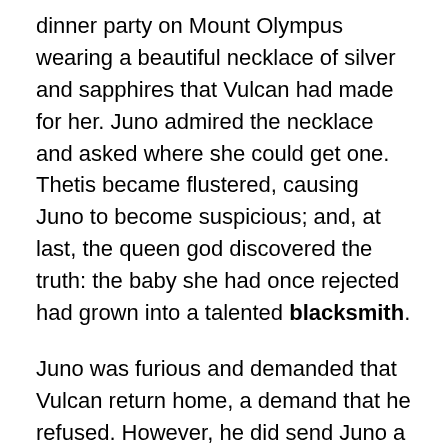dinner party on Mount Olympus wearing a beautiful necklace of silver and sapphires that Vulcan had made for her. Juno admired the necklace and asked where she could get one. Thetis became flustered, causing Juno to become suspicious; and, at last, the queen god discovered the truth: the baby she had once rejected had grown into a talented blacksmith.
Juno was furious and demanded that Vulcan return home, a demand that he refused. However, he did send Juno a beautifully constructed chair made of silver and gold, inlaid with mother-of-pearl. Juno was delighted with this gift but, as soon as she sat in it her weight triggered hidden springs and metal bands sprung forth to hold her fast. The more she shrieked and struggled the more firmly the mechanical throne gripped her; the chair was a cleverly designed trap.